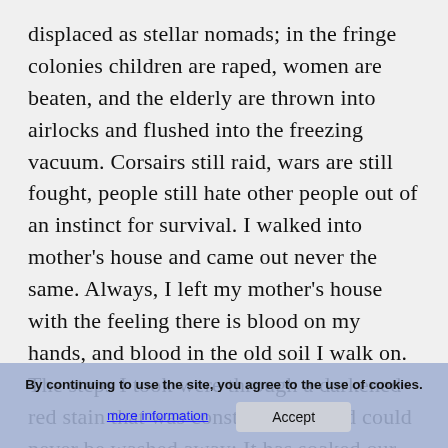displaced as stellar nomads; in the fringe colonies children are raped, women are beaten, and the elderly are thrown into airlocks and flushed into the freezing vacuum. Corsairs still raid, wars are still fought, people still hate other people out of an instinct for survival. I walked into mother's house and came out never the same. Always, I left my mother's house with the feeling there is blood on my hands, and blood in the old soil I walk on. The steps I took were through a darkened red stain that was constantly fed and could never be washed away: It has soaked our continents as efficiently as have our oceans. And somehow, we–because Humanity's guilt is mine and my guilt is Humanity's–have spread this stain; our evolution of Universe managed to stow away in our frigates to contaminate our proud rock and allowed settlements that satellite our sun
By continuing to use the site, you agree to the use of cookies. more information   Accept